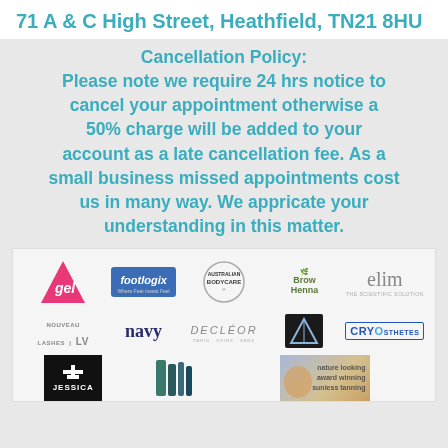71 A & C High Street, Heathfield, TN21 8HU
Cancellation Policy: Please note we require 24 hrs notice to cancel your appointment otherwise a 50% charge will be added to your account as a late cancellation fee. As a small business missed appointments cost us in many way. We appricate your understanding in this matter.
[Figure (logo): Grid of brand logos including: gel, footlogix, Australian Bodycare, Brow Henna, elim, Nouveau Lashes LV, navy, DECLÉOR, Crystal Clear, CRYOSTHETICS, JESSICA, cosmetics products, and sunless tanning brand]